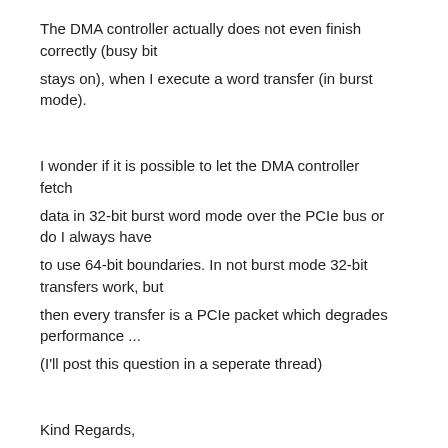The DMA controller actually does not even finish correctly (busy bit stays on), when I execute a word transfer (in burst mode).
I wonder if it is possible to let the DMA controller fetch data in 32-bit burst word mode over the PCIe bus or do I always have to use 64-bit boundaries. In not burst mode 32-bit transfers work, but then every transfer is a PCIe packet which degrades performance ... (I'll post this question in a seperate thread)
Kind Regards,